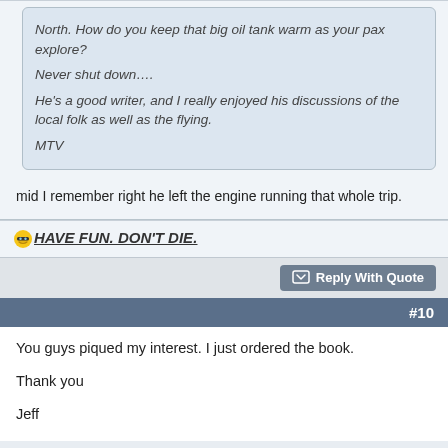North. How do you keep that big oil tank warm as your pax explore?

Never shut down….

He's a good writer, and I really enjoyed his discussions of the local folk as well as the flying.

MTV
mid I remember right he left the engine running that whole trip.
😎HAVE FUN. DON'T DIE.
Reply With Quote
#10
You guys piqued my interest. I just ordered the book.

Thank you

Jeff